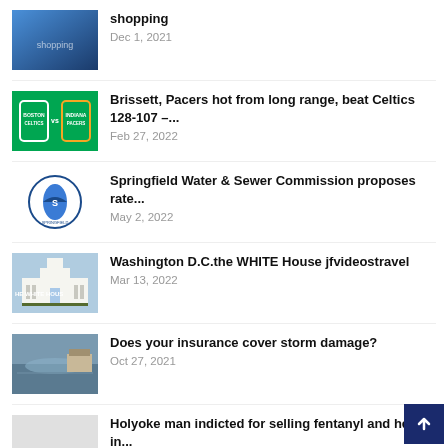shopping
Dec 1, 2021
Brissett, Pacers hot from long range, beat Celtics 128-107 –...
Feb 27, 2022
Springfield Water & Sewer Commission proposes rate...
May 2, 2022
Washington D.C.the WHITE House jfvideostravel
Mar 13, 2022
Does your insurance cover storm damage?
Oct 27, 2021
Holyoke man indicted for selling fentanyl and heroin in...